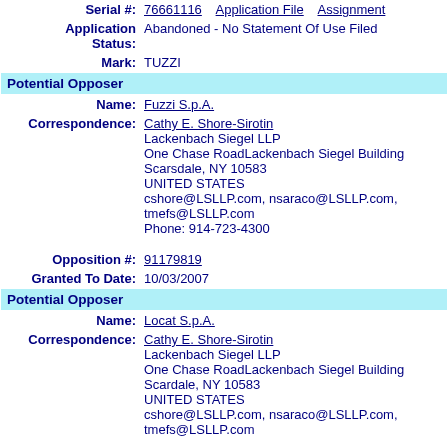Serial #: 76661116   Application File   Assignment
Application Status: Abandoned - No Statement Of Use Filed
Mark: TUZZI
Potential Opposer
Name: Fuzzi S.p.A.
Correspondence: Cathy E. Shore-Sirotin
Lackenbach Siegel LLP
One Chase RoadLackenbach Siegel Building
Scarsdale, NY 10583
UNITED STATES
cshore@LSLLP.com, nsaraco@LSLLP.com, tmefs@LSLLP.com
Phone: 914-723-4300
Opposition #: 91179819
Granted To Date: 10/03/2007
Potential Opposer
Name: Locat S.p.A.
Correspondence: Cathy E. Shore-Sirotin
Lackenbach Siegel LLP
One Chase RoadLackenbach Siegel Building
Scardale, NY 10583
UNITED STATES
cshore@LSLLP.com, nsaraco@LSLLP.com,
tmefs@LSLLP.com